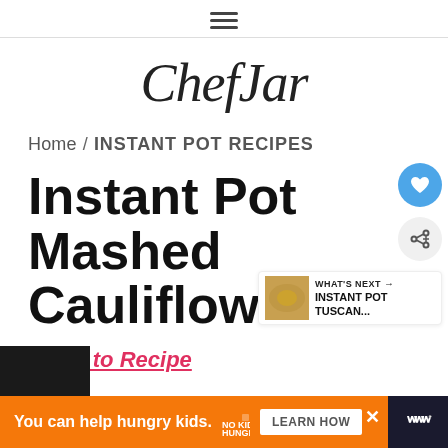≡ (hamburger menu icon)
ChefJar
Home / INSTANT POT RECIPES
Instant Pot Mashed Cauliflower
Jump to Recipe
You can help hungry kids. NO KID HUNGRY LEARN HOW